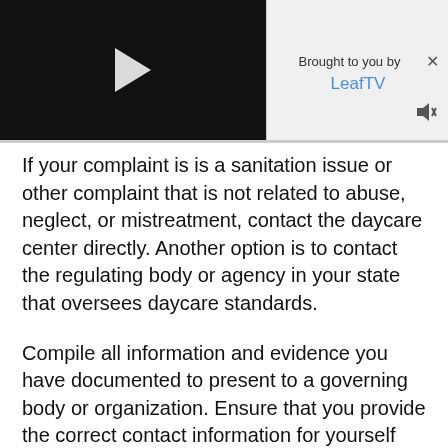[Figure (screenshot): Video player thumbnail with black background and white play button triangle]
Brought to you by LeafTV
If your complaint is is a sanitation issue or other complaint that is not related to abuse, neglect, or mistreatment, contact the daycare center directly. Another option is to contact the regulating body or agency in your state that oversees daycare standards.
Compile all information and evidence you have documented to present to a governing body or organization. Ensure that you provide the correct contact information for yourself and the daycare center. In any complaint your identity, as well as your child's identity, will be kept anonymous by the governing body or organization investigating